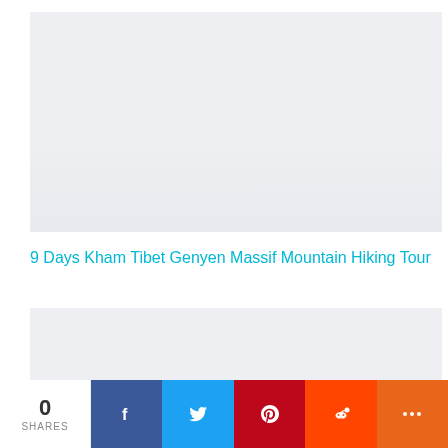Follow
[Figure (photo): Top image placeholder - a mountain/landscape photo area, light grey]
9 Days Kham Tibet Genyen Massif Mountain Hiking Tour
[Figure (photo): Bottom image placeholder - another photo area, light grey]
0 SHARES